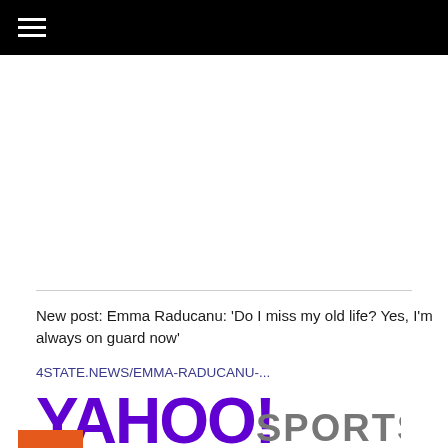≡ (hamburger menu)
New post: Emma Raducanu: ‘Do I miss my old life? Yes, I’m always on guard now’
4STATE.NEWS/EMMA-RADUCANU-...
[Figure (logo): Yahoo! Sports logo in purple and grey]
OUT 33 MINS AGO
via